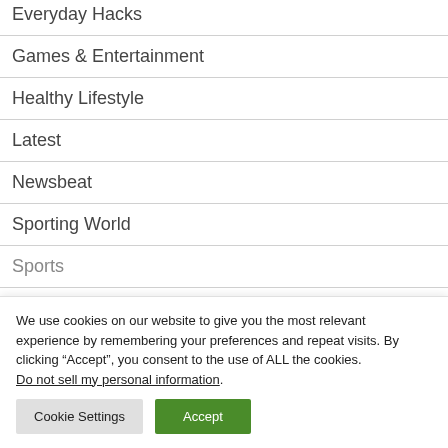Everyday Hacks
Games & Entertainment
Healthy Lifestyle
Latest
Newsbeat
Sporting World
Sports
We use cookies on our website to give you the most relevant experience by remembering your preferences and repeat visits. By clicking “Accept”, you consent to the use of ALL the cookies. Do not sell my personal information.
Cookie Settings
Accept